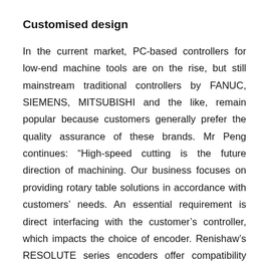Customised design
In the current market, PC-based controllers for low-end machine tools are on the rise, but still mainstream traditional controllers by FANUC, SIEMENS, MITSUBISHI and the like, remain popular because customers generally prefer the quality assurance of these brands. Mr Peng continues: “High-speed cutting is the future direction of machining. Our business focuses on providing rotary table solutions in accordance with customers’ needs. An essential requirement is direct interfacing with the customer’s controller, which impacts the choice of encoder. Renishaw’s RESOLUTE series encoders offer compatibility with many popular industrial serial communications protocols including